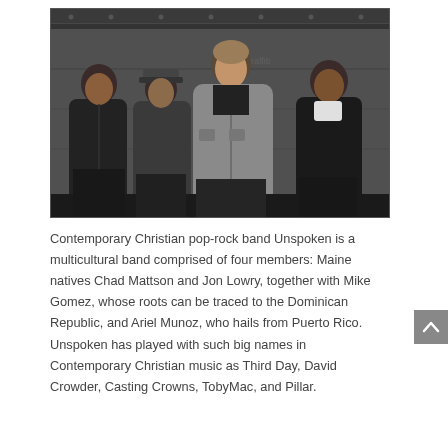[Figure (photo): Four-member band photo: four men posing in front of a dark industrial metal wall. The central foreground figure wears a grey jacket. The others wear dark jackets.]
Contemporary Christian pop-rock band Unspoken is a multicultural band comprised of four members: Maine natives Chad Mattson and Jon Lowry, together with Mike Gomez, whose roots can be traced to the Dominican Republic, and Ariel Munoz, who hails from Puerto Rico. Unspoken has played with such big names in Contemporary Christian music as Third Day, David Crowder, Casting Crowns, TobyMac, and Pillar.